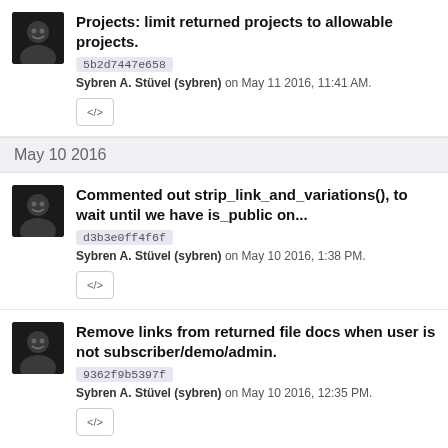Projects: limit returned projects to allowable projects.
5b2d7447e658
Sybren A. Stüvel (sybren) on May 11 2016, 11:41 AM.
May 10 2016
Commented out strip_link_and_variations(), to wait until we have is_public on...
d3b3e0ff4f6f
Sybren A. Stüvel (sybren) on May 10 2016, 1:38 PM.
Remove links from returned file docs when user is not subscriber/demo/admin.
9362f9b5397f
Sybren A. Stüvel (sybren) on May 10 2016, 12:35 PM.